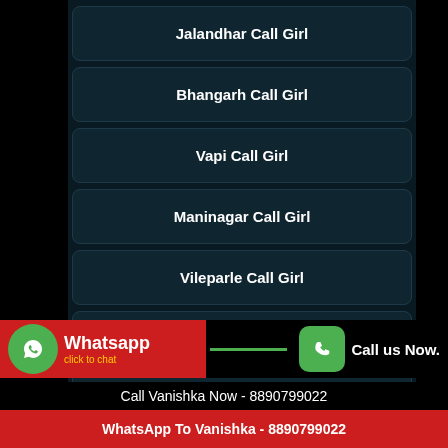Jalandhar Call Girl
Bhangarh Call Girl
Vapi Call Girl
Maninagar Call Girl
Vileparle Call Girl
nallurhalli Call Girl
Modasa Call Girl
[Figure (infographic): WhatsApp click to chat button (green icon, red background) on left, Call us Now button (green phone icon) on right, with green line separator]
Call Vanishka Now - 8890799022
WhatsApp To Vanishka - 8890799022